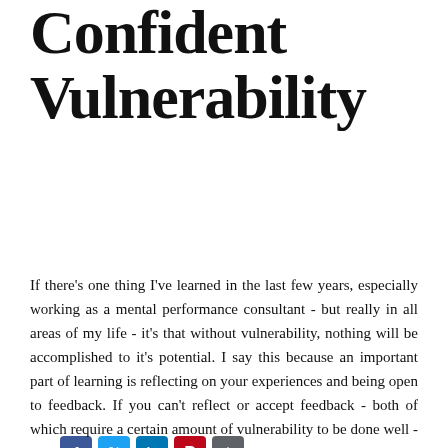Confident Vulnerability
[Figure (infographic): Social sharing buttons: Facebook (blue), Twitter (blue), LinkedIn (blue), Pinterest (red), Share (grey)]
If there's one thing I've learned in the last few years, especially working as a mental performance consultant - but really in all areas of my life - it's that without vulnerability, nothing will be accomplished to it's potential. I say this because an important part of learning is reflecting on your experiences and being open to feedback. If you can't reflect or accept feedback - both of which require a certain amount of vulnerability to be done well - then you will never be able to adapt, grow, and reach your potential. Like most things, this is easier said than done of course. Most of us have no trouble reflecting and accepting feedback as beginners but, once we've been doing something for a while, and are feeling pretty good about ourselves, it is difficult to maintain the vulnerability necessary to continue to grow. At the same